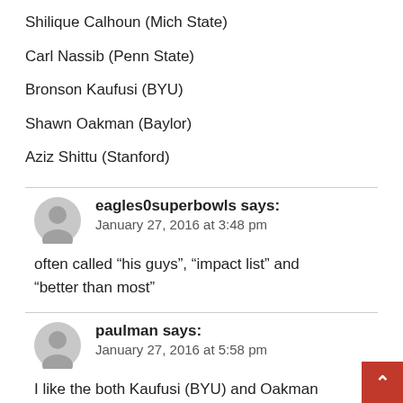Shilique Calhoun (Mich State)
Carl Nassib (Penn State)
Bronson Kaufusi (BYU)
Shawn Oakman (Baylor)
Aziz Shittu (Stanford)
eagles0superbowls says:
January 27, 2016 at 3:48 pm
often called “his guys”, “impact list” and “better than most”
paulman says:
January 27, 2016 at 5:58 pm
I like the both Kaufusi (BYU) and Oakman (Baylor) Kids as 3 Rrounders if they are still